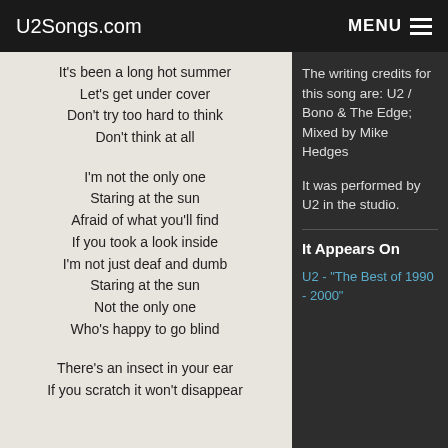U2Songs.com  MENU
It's been a long hot summer
Let's get under cover
Don't try too hard to think
Don't think at all

I'm not the only one
Staring at the sun
Afraid of what you'll find
If you took a look inside
I'm not just deaf and dumb
Staring at the sun
Not the only one
Who's happy to go blind

There's an insect in your ear
If you scratch it won't disappear
The writing credits for this song are: U2 / Bono & The Edge; Mixed by Mike Hedges
It was performed by U2 in the studio.
It Appears On
U2 - "The Best of 1990 - 2000"